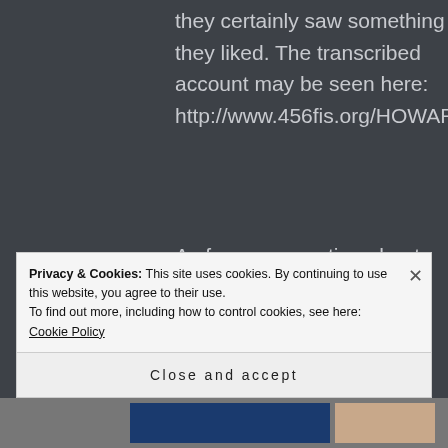they certainly saw something they liked. The transcribed account may be seen here: http://www.456fis.org/HOWARD_HUGHE
As for your question about going back to Truk – we do have plans in the works to secure and recover the remains of the passengers and crew. The final disposition of the Martin M-130 may never be discovered due to the secrecy of the Empire and the
Privacy & Cookies: This site uses cookies. By continuing to use this website, you agree to their use.
To find out more, including how to control cookies, see here: Cookie Policy
Close and accept